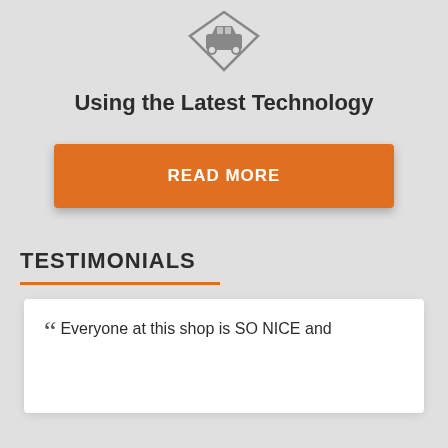[Figure (illustration): Car icon inside a diamond/chevron shape, gray outline style]
Using the Latest Technology
READ MORE
TESTIMONIALS
Everyone at this shop is SO NICE and